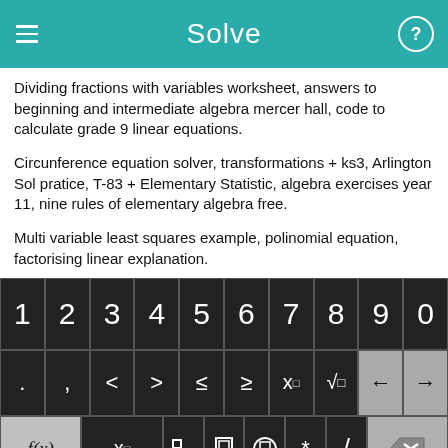Solve
Dividing fractions with variables worksheet, answers to beginning and intermediate algebra mercer hall, code to calculate grade 9 linear equations.
Circunference equation solver, transformations + ks3, Arlington Sol pratice, T-83 + Elementary Statistic, algebra exercises year 11, nine rules of elementary algebra free.
Multi variable least squares example, polinomial equation, factorising linear explanation.
[Figure (screenshot): A math keyboard interface with rows of keys: digits 1-9,0; operators including . , < > ≤ ≥ x□ √□ and arrow keys; function keys f(x) x□ fraction absolute-value parentheses * / and backspace; bottom row with abc rotate x y = + − and green Solve! button.]